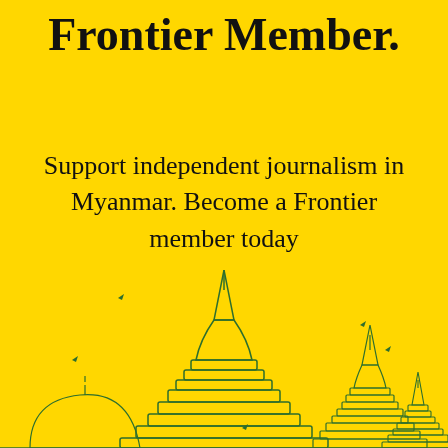Frontier Member.
Support independent journalism in Myanmar. Become a Frontier member today
[Figure (illustration): Line illustration of Myanmar pagodas/stupas and a smaller temple on a yellow background, with small bird silhouettes scattered around]